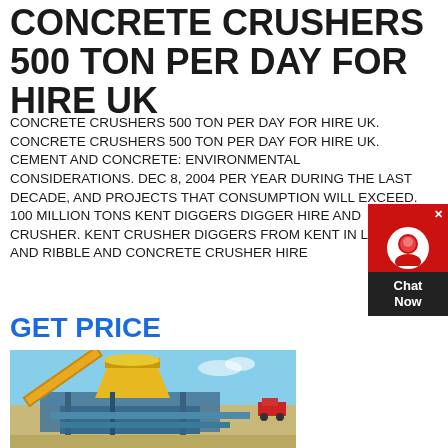CONCRETE CRUSHERS 500 TON PER DAY FOR HIRE UK
CONCRETE CRUSHERS 500 TON PER DAY FOR HIRE UK. CONCRETE CRUSHERS 500 TON PER DAY FOR HIRE UK. CEMENT AND CONCRETE: ENVIRONMENTAL CONSIDERATIONS. DEC 8, 2004 PER YEAR DURING THE LAST DECADE, AND PROJECTS THAT CONSUMPTION WILL EXCEED. 100 MILLION TONS KENT DIGGERS DIGGER HIRE AND CRUSHER. KENT CRUSHER DIGGERS FROM KENT IN LONDON AND RIBBLE AND CONCRETE CRUSHER HIRE
GET PRICE
[Figure (photo): Industrial concrete crusher / cone crusher machine on a construction site with yellow and blue metal structure, conveyor belts, and sandy ground visible, blue sky in background]